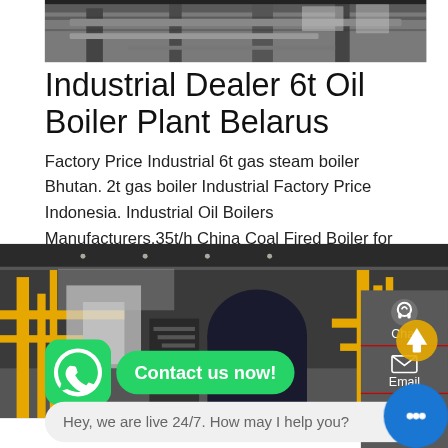[Figure (photo): Industrial boiler facility interior — top partial view showing pipes and equipment]
Industrial Dealer 6t Oil Boiler Plant Belarus
Factory Price Industrial 6t gas steam boiler Bhutan. 2t gas boiler Industrial Factory Price Indonesia. Industrial Oil Boilers Manufacturers.35t/h China Coal Fired Boiler for Textile Industrial This series steam boiler is widely used in industry and life which need steam the 35t/h condensing boiler boiler price | Thermic Oil Heater 35t/h NG
Learn More
[Figure (photo): Industrial boiler plant interior with yellow pipes, staircase, and large boiler equipment]
[Figure (screenshot): WhatsApp icon with Contact us now! green chat bubble overlay]
Hey, we are live 24/7. How may I help you?
Chat
Email
Contact